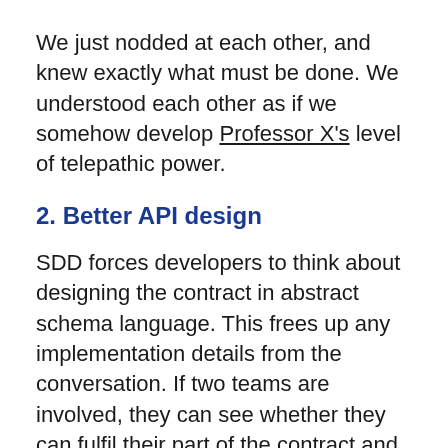We just nodded at each other, and knew exactly what must be done. We understood each other as if we somehow develop Professor X's level of telepathic power.
2. Better API design
SDD forces developers to think about designing the contract in abstract schema language. This frees up any implementation details from the conversation. If two teams are involved, they can see whether they can fulfil their part of the contract and suggest changes early. This usually results in well thought out API design for both sides of the